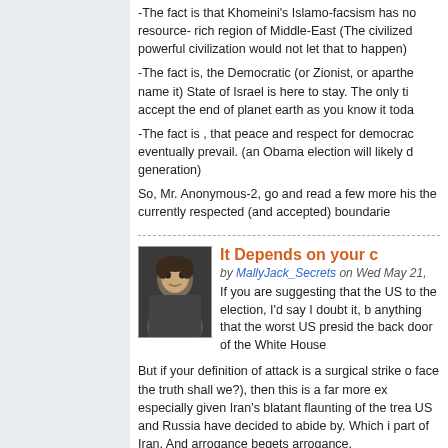-The fact is that Khomeini's Islamo-facsism has no resource- rich region of Middle-East (The civilized powerful civilization would not let that to happen)
-The fact is, the Democratic (or Zionist, or aparthe name it) State of Israel is here to stay. The only ti accept the end of planet earth as you know it toda
-The fact is , that peace and respect for democrac eventually prevail. (an Obama election will likely d generation)
So, Mr. Anonymous-2, go and read a few more his the currently respected (and accepted) boundarie
It Depends on your d
by MallyJack_Secrets on Wed May 21,
If you are suggesting that the US to the election, I'd say I doubt it, b anything that the worst US presid the back door of the White House
But if your definition of attack is a surgical strike o face the truth shall we?), then this is a far more ex especially given Iran's blatant flaunting of the trea US and Russia have decided to abide by. Which i part of Iran. And arrogance begets arrogance.